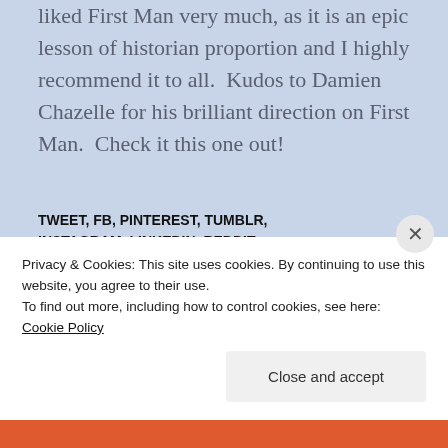liked First Man very much, as it is an epic lesson of historian proportion and I highly recommend it to all.  Kudos to Damien Chazelle for his brilliant direction on First Man.  Check it this one out!
TWEET, FB, PINTEREST, TUMBLR, INSTAGRAM, LINKEDIN, REDDIT, PRESSTHIS, POCKET, EMAIL, PRINT
[Figure (other): Social media sharing buttons: Twitter (blue circle), Facebook (blue circle), Pinterest (red circle), Tumblr (dark circle), Pocket (light gray circle), LinkedIn (teal circle), Reddit (alien icon)]
Privacy & Cookies: This site uses cookies. By continuing to use this website, you agree to their use.
To find out more, including how to control cookies, see here: Cookie Policy
Close and accept